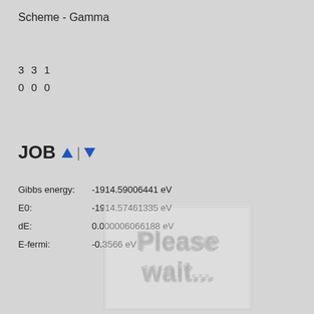Scheme - Gamma
3 3 1
0 0 0
JOB
Gibbs energy:  -1914.59006441 eV
E0:  -1914.57461335 eV
dE:  0.000006066188 eV
E-fermi:  -0.3566 eV
Eigenvalues
Magnetization
Structure